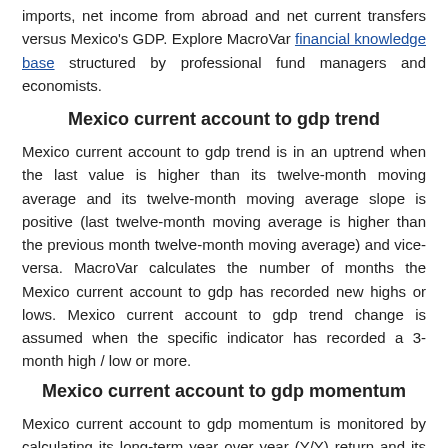imports, net income from abroad and net current transfers versus Mexico's GDP. Explore MacroVar financial knowledge base structured by professional fund managers and economists.
Mexico current account to gdp trend
Mexico current account to gdp trend is in an uptrend when the last value is higher than its twelve-month moving average and its twelve-month moving average slope is positive (last twelve-month moving average is higher than the previous month twelve-month moving average) and vice-versa. MacroVar calculates the number of months the Mexico current account to gdp has recorded new highs or lows. Mexico current account to gdp trend change is assumed when the specific indicator has recorded a 3-month high / low or more.
Mexico current account to gdp momentum
Mexico current account to gdp momentum is monitored by calculating its long-term year over year (Y/Y) return and its short-term month on month (M/M) return.